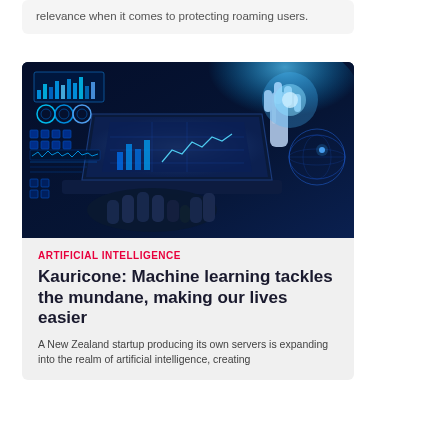relevance when it comes to protecting roaming users.
[Figure (photo): AI and technology themed photo showing hands typing on a laptop with holographic digital interface overlays and a robotic hand reaching toward a glowing screen, in blue tones.]
ARTIFICIAL INTELLIGENCE
Kauricone: Machine learning tackles the mundane, making our lives easier
A New Zealand startup producing its own servers is expanding into the realm of artificial intelligence, creating